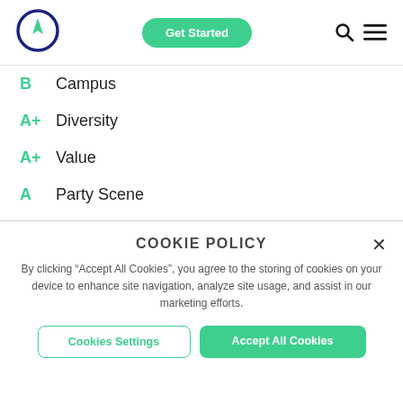[Figure (logo): Navigation compass logo — dark navy circle with a green arrow/pointer inside]
Get Started
[Figure (other): Search icon (magnifying glass) and hamburger menu icon]
B  Campus
A+  Diversity
A+  Value
A  Party Scene
COOKIE POLICY
By clicking “Accept All Cookies”, you agree to the storing of cookies on your device to enhance site navigation, analyze site usage, and assist in our marketing efforts.
Cookies Settings
Accept All Cookies